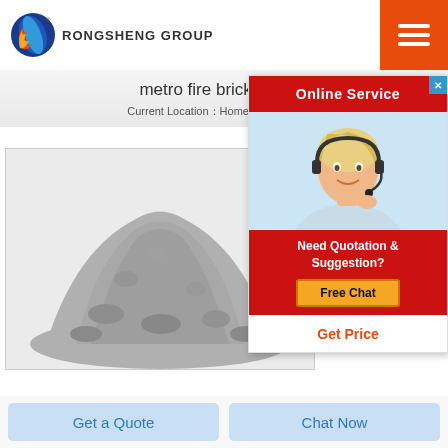RONGSHENG GROUP
metro fire bricks in Nig
Current Location：Home > metro fire br
[Figure (photo): Photo of gray powder (fire brick material) with Rongsheng Group logo in top left corner]
bric
2020
Antiq
[Figure (other): Online Service popup with customer service representative photo, 'Need Quotation & Suggestion?' text, 'Free Chat' button, and 'Get Price' button]
Get a Quote
Chat Now